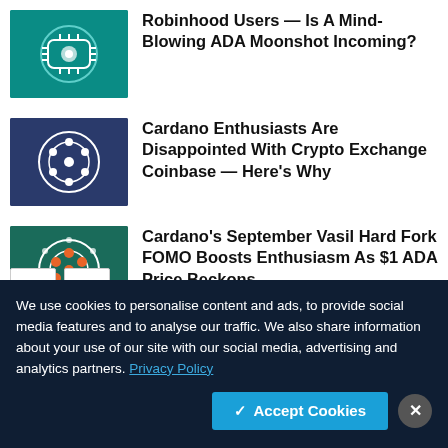[Figure (photo): Teal background with white circuit/chip design]
Robinhood Users — Is A Mind-Blowing ADA Moonshot Incoming?
[Figure (photo): Dark blue background with white concentric circle and dots icon]
Cardano Enthusiasts Are Disappointed With Crypto Exchange Coinbase — Here's Why
[Figure (photo): Dark teal background with white concentric circle and orange filled dots icon]
Cardano's September Vasil Hard Fork FOMO Boosts Enthusiasm As $1 ADA Price Beckons
We use cookies to personalise content and ads, to provide social media features and to analyse our traffic. We also share information about your use of our site with our social media, advertising and analytics partners. Privacy Policy
✓ Accept Cookies